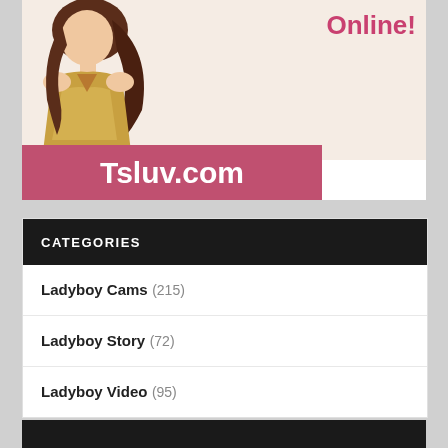[Figure (illustration): Advertisement banner showing a woman in a gold dress with text 'Online!' in pink and 'Tsluv.com' on a pink/mauve background bar]
CATEGORIES
Ladyboy Cams (215)
Ladyboy Story (72)
Ladyboy Video (95)